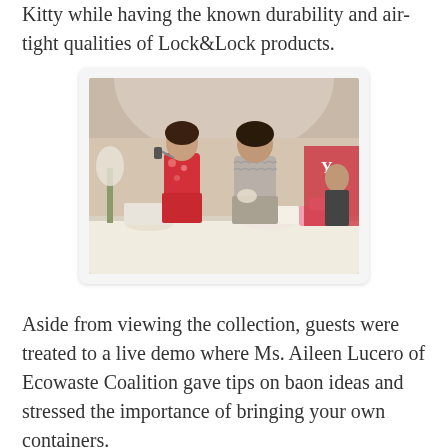Kitty while having the known durability and air-tight qualities of Lock&Lock products.
[Figure (photo): Two women standing at a table with food containers and Lock&Lock products. One woman in a floral red dress holds a microphone, the other in a ruffled grey top appears to be demonstrating something. They are in what appears to be a mall atrium.]
Aside from viewing the collection, guests were treated to a live demo where Ms. Aileen Lucero of Ecowaste Coalition gave tips on baon ideas and stressed the importance of bringing your own containers.
My daughter as well as the other kids also get the chance to do fun activities in the East Atrium of Shangri-la Mall.  We had a fun-filled day as Lock&Lock gave us the ultimate bonding experience with various activities and contests.